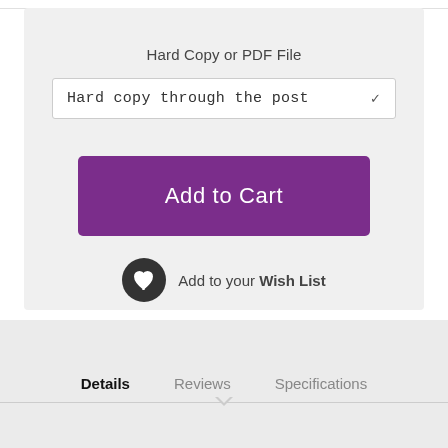Hard Copy or PDF File
Hard copy through the post
Add to Cart
Add to your Wish List
Details
Reviews
Specifications